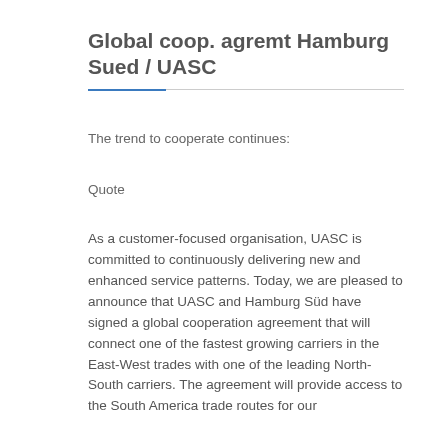Global coop. agremt Hamburg Sued / UASC
The trend to cooperate continues:
Quote
As a customer-focused organisation, UASC is committed to continuously delivering new and enhanced service patterns. Today, we are pleased to announce that UASC and Hamburg Süd have signed a global cooperation agreement that will connect one of the fastest growing carriers in the East-West trades with one of the leading North-South carriers. The agreement will provide access to the South America trade routes for our